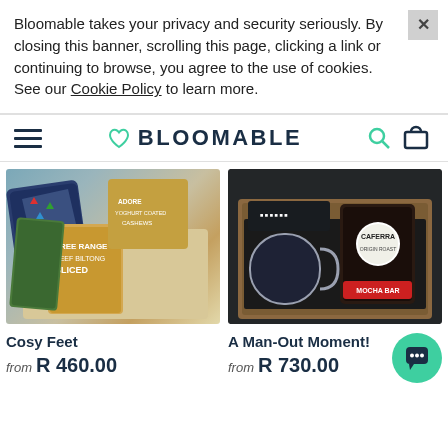Bloomable takes your privacy and security seriously. By closing this banner, scrolling this page, clicking a link or continuing to browse, you agree to the use of cookies. See our Cookie Policy to learn more.
[Figure (logo): Bloomable website navigation bar with hamburger menu, heart+BLOOMABLE logo, search icon, and cart icon]
[Figure (photo): Gift box with colorful socks, yoghurt coated cashews, and free range beef biltong sliced packages on grey background]
[Figure (photo): Gift box on dark background with black mug, Caferra coffee bag with red label, and black patterned bag]
Cosy Feet
from R 460.00
A Man-Out Moment!
from R 730.00